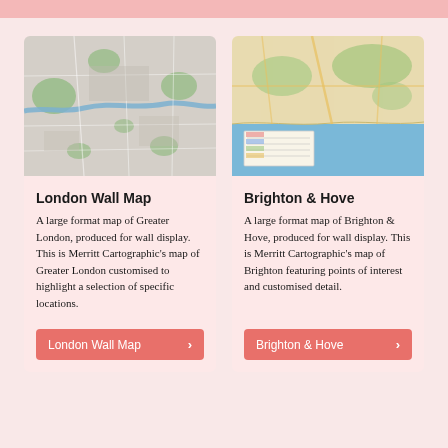[Figure (map): Aerial/satellite-style map of Greater London showing roads, green spaces, and the River Thames winding through urban areas.]
London Wall Map
A large format map of Greater London, produced for wall display. This is Merritt Cartographic's map of Greater London customised to highlight a selection of specific locations.
London Wall Map ›
[Figure (map): Map of Brighton & Hove showing the coastline, sea, roads, and a legend inset in the lower left corner.]
Brighton & Hove
A large format map of Brighton & Hove, produced for wall display. This is Merritt Cartographic's map of Brighton featuring points of interest and customised detail.
Brighton & Hove ›